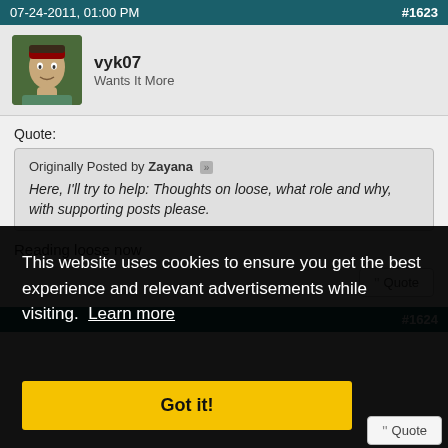07-24-2011, 01:00 PM   #1623
vyk07
Wants It More
Quote:
Originally Posted by Zayana
Here, I'll try to help: Thoughts on loose, what role and why, with supporting posts please.
Reading loose now
This website uses cookies to ensure you get the best experience and relevant advertisements while visiting. Learn more
Got it!
#1624